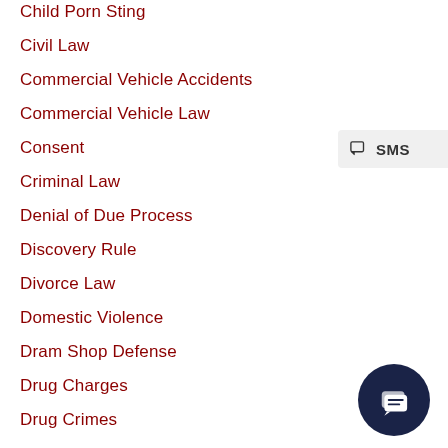Child Porn Sting
Civil Law
Commercial Vehicle Accidents
Commercial Vehicle Law
Consent
Criminal Law
Denial of Due Process
Discovery Rule
Divorce Law
Domestic Violence
Dram Shop Defense
Drug Charges
Drug Crimes
[Figure (screenshot): SMS contact widget button in light gray]
[Figure (screenshot): Dark navy circular chat/message button in bottom right corner]